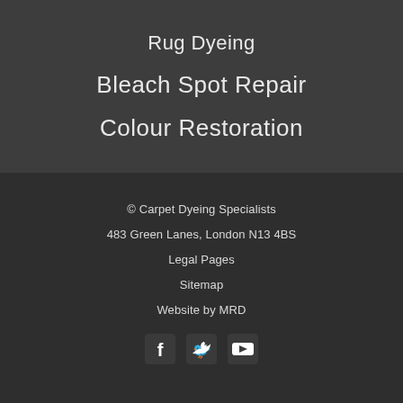Rug Dyeing
Bleach Spot Repair
Colour Restoration
© Carpet Dyeing Specialists
483 Green Lanes, London N13 4BS
Legal Pages
Sitemap
Website by MRD
[Figure (other): Social media icons: Facebook, Twitter, YouTube]